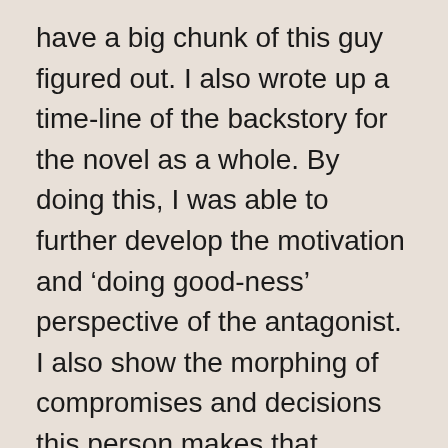have a big chunk of this guy figured out. I also wrote up a time-line of the backstory for the novel as a whole. By doing this, I was able to further develop the motivation and ‘doing good-ness’ perspective of the antagonist. I also show the morphing of compromises and decisions this person makes that ultimately makes him a bad guy in the story. He’s not a bad person. He’s a torn person. He’s someone who doesn’t know what to do and is so overcome with guilt and anger that he cannot cope. I dare say no more, as I don’t want to give anything else away!